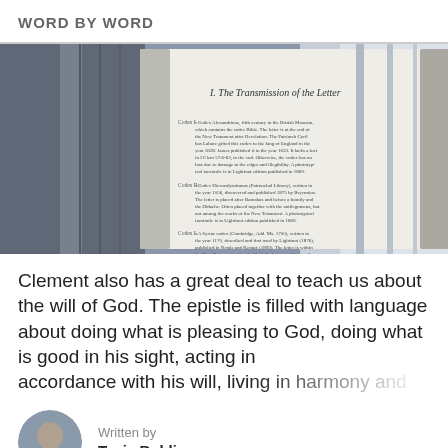WORD BY WORD
[Figure (photo): Open book showing a page titled 'I. The Transmission of the Letter' with dense text about manuscript codices, placed at an angle against a blurred background of shelves.]
Clement also has a great deal to teach us about the will of God. The epistle is filled with language about doing what is pleasing to God, doing what is good in his sight, acting in accordance with his will, living in harmony and
Written by
Tavis Bohlinger